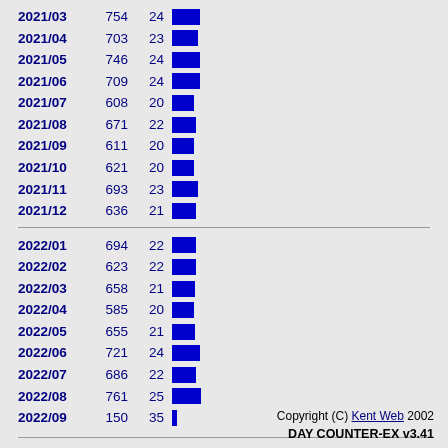| Date | Count | Avg | Bar |
| --- | --- | --- | --- |
| 2021/03 | 754 | 24 |  |
| 2021/04 | 703 | 23 |  |
| 2021/05 | 746 | 24 |  |
| 2021/06 | 709 | 24 |  |
| 2021/07 | 608 | 20 |  |
| 2021/08 | 671 | 22 |  |
| 2021/09 | 611 | 20 |  |
| 2021/10 | 621 | 20 |  |
| 2021/11 | 693 | 23 |  |
| 2021/12 | 636 | 21 |  |
| 2022/01 | 694 | 22 |  |
| 2022/02 | 623 | 22 |  |
| 2022/03 | 658 | 21 |  |
| 2022/04 | 585 | 20 |  |
| 2022/05 | 655 | 21 |  |
| 2022/06 | 721 | 24 |  |
| 2022/07 | 686 | 22 |  |
| 2022/08 | 761 | 25 |  |
| 2022/09 | 150 | 35 |  |
Copyright (C) Kent Web 2002 DAY COUNTER-EX v3.41